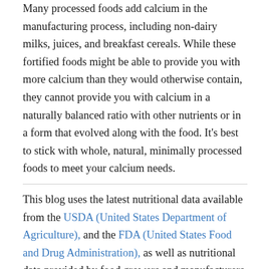Many processed foods add calcium in the manufacturing process, including non-dairy milks, juices, and breakfast cereals. While these fortified foods might be able to provide you with more calcium than they would otherwise contain, they cannot provide you with calcium in a naturally balanced ratio with other nutrients or in a form that evolved along with the food. It's best to stick with whole, natural, minimally processed foods to meet your calcium needs.
This blog uses the latest nutritional data available from the USDA (United States Department of Agriculture), and the FDA (United States Food and Drug Administration), as well as nutritional data provided by food growers and manufacturers about their products. We believe the information on this website to be accurate. However, we